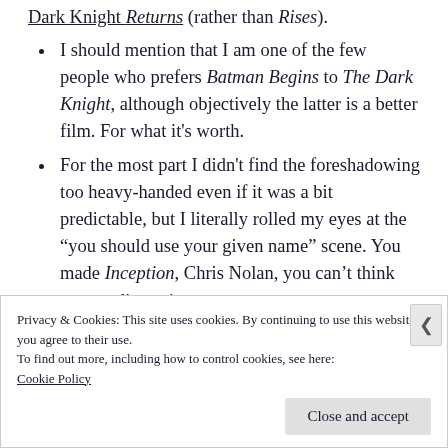Dark Knight Returns (rather than Rises).
I should mention that I am one of the few people who prefers Batman Begins to The Dark Knight, although objectively the latter is a better film. For what it's worth.
For the most part I didn't find the foreshadowing too heavy-handed even if it was a bit predictable, but I literally rolled my eyes at the "you should use your given name" scene. You made Inception, Chris Nolan, you can't think your audience is
Privacy & Cookies: This site uses cookies. By continuing to use this website, you agree to their use.
To find out more, including how to control cookies, see here:
Cookie Policy
Close and accept